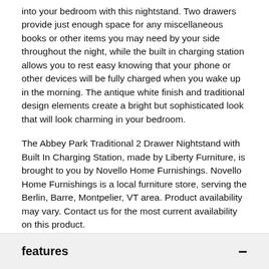into your bedroom with this nightstand. Two drawers provide just enough space for any miscellaneous books or other items you may need by your side throughout the night, while the built in charging station allows you to rest easy knowing that your phone or other devices will be fully charged when you wake up in the morning. The antique white finish and traditional design elements create a bright but sophisticated look that will look charming in your bedroom.
The Abbey Park Traditional 2 Drawer Nightstand with Built In Charging Station, made by Liberty Furniture, is brought to you by Novello Home Furnishings. Novello Home Furnishings is a local furniture store, serving the Berlin, Barre, Montpelier, VT area. Product availability may vary. Contact us for the most current availability on this product.
USB Port(s)
features